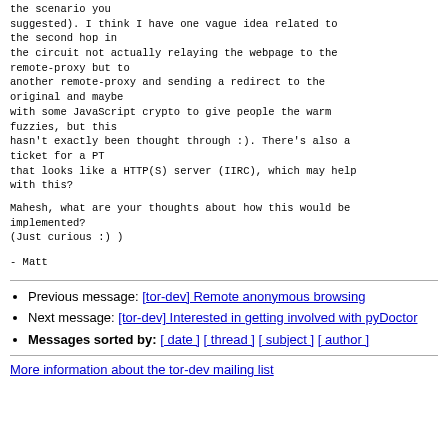the scenario you suggested). I think I have one vague idea related to the second hop in the circuit not actually relaying the webpage to the remote-proxy but to another remote-proxy and sending a redirect to the original and maybe with some JavaScript crypto to give people the warm fuzzies, but this hasn't exactly been thought through :). There's also a ticket for a PT that looks like a HTTP(S) server (IIRC), which may help with this?
Mahesh, what are your thoughts about how this would be implemented?
(Just curious :) )
- Matt
Previous message: [tor-dev] Remote anonymous browsing
Next message: [tor-dev] Interested in getting involved with pyDoctor
Messages sorted by: [ date ] [ thread ] [ subject ] [ author ]
More information about the tor-dev mailing list